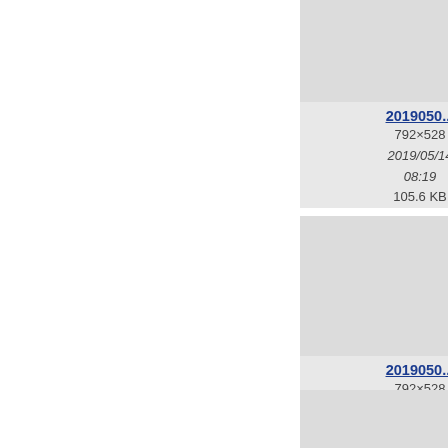[Figure (screenshot): File browser thumbnail grid showing image files with metadata. First row: two cards with gray thumbnail placeholders. Card 1: filename '2019050...', dimensions 792×528, date 2019/05/14 08:19, size 105.6 KB. Card 2 (partially visible): filename '2019O...', dimensions 396×..., date 2019/... 08:..., size 72.5... Second row: two cards. Card 3: filename '2019050...', dimensions 792×528, date 2019/05/14 08:16, size 129.4 KB. Card 4 (partially visible): filename 'a0_-...', date 2020... 8 2..., size 11.7... Third row: two partial bottom cards visible.]